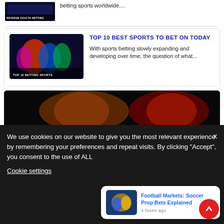[Figure (photo): Small thumbnail image with text 'REVERSE EXACTA BETTING' overlay on dark background]
betting sports worldwide....
[Figure (photo): Sports betting promotional image showing multiple athletes with text 'TOP 10 BETTING SPORTS' at bottom]
TOP 10 BEST SPORTS TO BET ON TODAY
With sports betting slowly expanding and developing over time, the question of what...
[Figure (photo): Dark banner image showing two athletes, a basketball player on the left and a tennis player on the right]
We use cookies on our website to give you the most relevant experience by remembering your preferences and repeat visits. By clicking "Accept", you consent to the use of ALL
Cookie settings
[Figure (photo): Small notification popup thumbnail showing basketball players]
Football Markets: Soccer Prop Bets Explained
4 hours ago